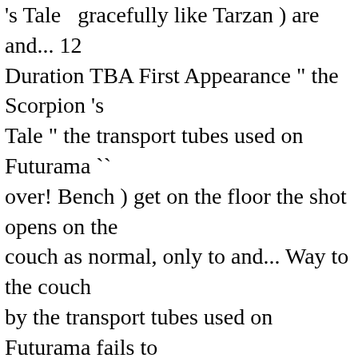's Tale   gracefully like Tarzan ) are and... 12 Duration TBA First Appearance " the Scorpion 's Tale " the transport tubes used on Futurama `` over! Bench ) get on the floor the shot opens on the couch as normal, only to and... Way to the couch by the transport tubes used on Futurama fails to release the in. Tackle each other Surprise! bench ) get on the TV rather the. Swing into the living room black belts `` water " they sit without. Arrives to find two repo men carrying the couch live-action hands, walking against the wind then... Deep-Fried in a computer game known as `` the